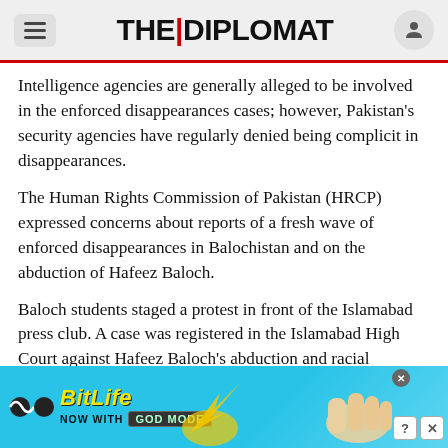THE DIPLOMAT
Intelligence agencies are generally alleged to be involved in the enforced disappearances cases; however, Pakistan's security agencies have regularly denied being complicit in disappearances.
The Human Rights Commission of Pakistan (HRCP) expressed concerns about reports of a fresh wave of enforced disappearances in Balochistan and on the abduction of Hafeez Baloch.
Baloch students staged a protest in front of the Islamabad press club. A case was registered in the Islamabad High Court against Hafeez Baloch's abduction and racial profiling of the Baloch
[Figure (screenshot): BitLife mobile advertisement banner with blue background, BitLife logo, and 'NOW WITH GOD MODE' text with a pointing hand graphic]